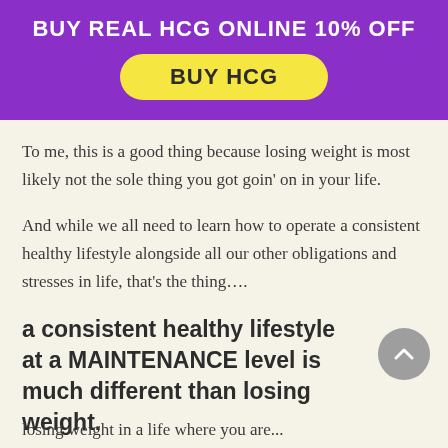[Figure (infographic): Purple banner with 'BUY REAL HCG ONLINE 10% OFF' text and a yellow rounded button labeled 'BUY HCG']
To me, this is a good thing because losing weight is most likely not the sole thing you got goin’ on in your life.
And while we all need to learn how to operate a consistent healthy lifestyle alongside all our other obligations and stresses in life, that’s the thing….
a consistent healthy lifestyle at a MAINTENANCE level is much different than losing weight.
losing weight in a life where you are...